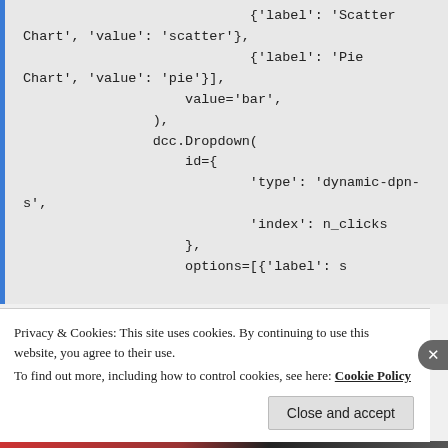{'label': 'Scatter Chart', 'value': 'scatter'},
                            {'label': 'Pie Chart', 'value': 'pie'}],
                    value='bar',
                ),
                dcc.Dropdown(
                    id={
                            'type': 'dynamic-dpn-s',
                            'index': n_clicks
                    },
                    options=[{'label': s
Privacy & Cookies: This site uses cookies. By continuing to use this website, you agree to their use.
To find out more, including how to control cookies, see here: Cookie Policy
Close and accept